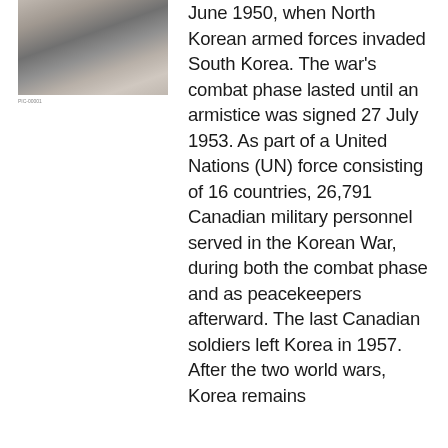[Figure (photo): Black and white photograph of a person, cropped at top of page]
June 1950, when North Korean armed forces invaded South Korea. The war's combat phase lasted until an armistice was signed 27 July 1953. As part of a United Nations (UN) force consisting of 16 countries, 26,791 Canadian military personnel served in the Korean War, during both the combat phase and as peacekeepers afterward. The last Canadian soldiers left Korea in 1957. After the two world wars, Korea remains